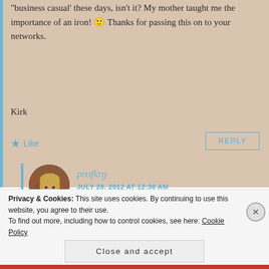“business casual’ these days, isn’t it? My mother taught me the importance of an iron! 🙂 Thanks for passing this on to your networks.
Kirk
★ Like
REPLY
[Figure (photo): Circular avatar photo of a woman with blonde hair wearing a dark red top and necklace, against a brick wall background]
profkrg
JULY 28, 2012 AT 12:38 AM
Privacy & Cookies: This site uses cookies. By continuing to use this website, you agree to their use.
To find out more, including how to control cookies, see here: Cookie Policy
Close and accept